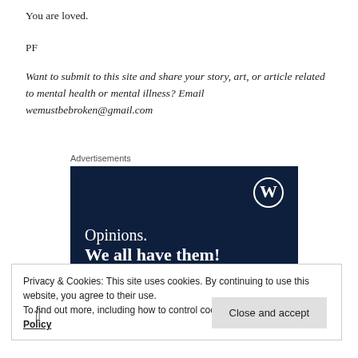You are loved.
PF
Want to submit to this site and share your story, art, or article related to mental health or mental illness? Email wemustbebroken@gmail.com
Advertisements
[Figure (illustration): WordPress advertisement banner with dark navy background, WordPress logo (W in circle) top right, text reading 'Opinions. We all have them!']
Privacy & Cookies: This site uses cookies. By continuing to use this website, you agree to their use.
To find out more, including how to control cookies, see here: Cookie Policy